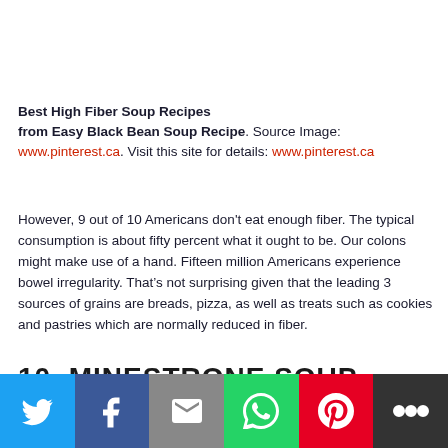Best High Fiber Soup Recipes
from Easy Black Bean Soup Recipe. Source Image: www.pinterest.ca. Visit this site for details: www.pinterest.ca
However, 9 out of 10 Americans don't eat enough fiber. The typical consumption is about fifty percent what it ought to be. Our colons might make use of a hand. Fifteen million Americans experience bowel irregularity. That's not surprising given that the leading 3 sources of grains are breads, pizza, as well as treats such as cookies and pastries which are normally reduced in fiber.
10. MINESTRONE SOUP WITH